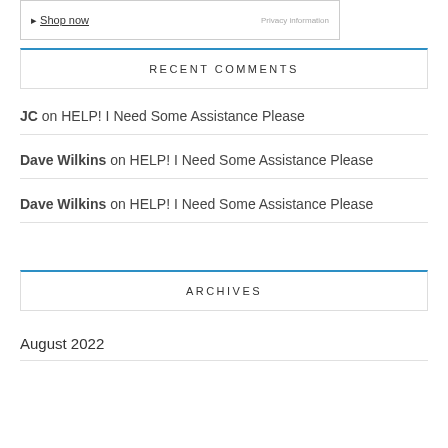[Figure (other): Advertisement box with Shop now link and Privacy information text]
RECENT COMMENTS
JC on HELP! I Need Some Assistance Please
Dave Wilkins on HELP! I Need Some Assistance Please
Dave Wilkins on HELP! I Need Some Assistance Please
ARCHIVES
August 2022